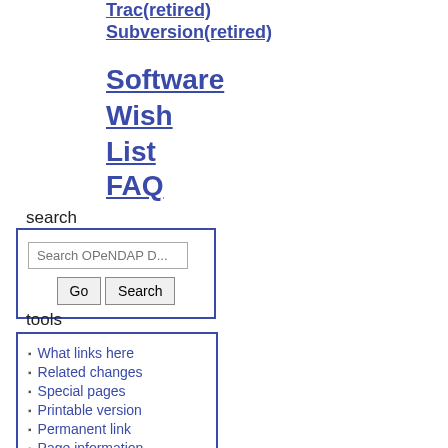Trac(retired)
Subversion(retired)
Software
Wish
List
FAQ
search
Search OPeNDAP D...
tools
What links here
Related changes
Special pages
Printable version
Permanent link
Page information